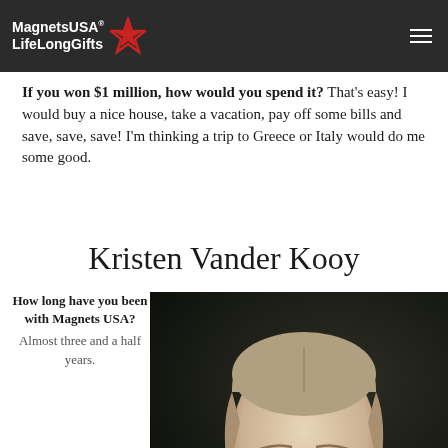MagnetsUSA LifeLong Gifts
If you won $1 million, how would you spend it? That's easy! I would buy a nice house, take a vacation, pay off some bills and save, save, save! I'm thinking a trip to Greece or Italy would do me some good.
Kristen Vander Kooy
How long have you been with Magnets USA? Almost three and a half years.
[Figure (photo): Portrait photo of Kristen Vander Kooy, a young woman with light brown hair pulled back, blue eyes, and small hoop earrings, photographed against a dark background.]